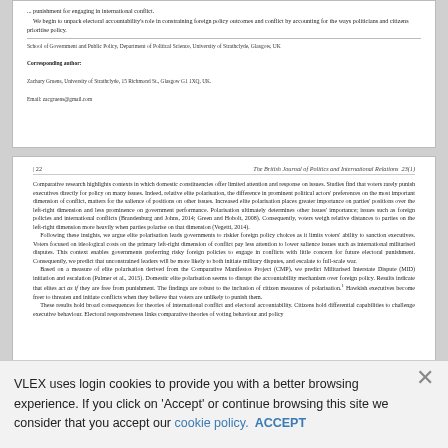... punishment for engaging in international conflict. We begin to unpack electoral accountability's role in constraining foreign policy outcomes and conflict by accounting for the ways politicians and citizens prioritise policy.
School of Government and Public Policy, Department of Political Science, University of Strathclyde, Glasgow, UK
Corresponding author: Zachary Gruens, University of Strathclyde, 15 Richmond St., Glasgow G1 1XQ, UK. Email: zacgruens@gmail.com
| 22    The British Journal of Politics and International Relations  23(1)
Comparative research highlights contexts in which domestic constituencies offer limited attention and response on issues. Studies find that voters rarely punish executives directly for policy on many issues. Indeed, relative elite polarisation, the difference in prominent political actors' preferences on the most important dimension of conflict, matters for the salience of positions on other issues. Increased elite polarisation places greater importance on parties' positions over the left-right dimension and less prominence on government performance. Polarisation ultimately determines other issues' importance; issues such as foreign policies and international conflicts (Brandenburg and Johns, 2014; Green and Hobolt, 2008). Consequently, voters weigh relative distances to parties on the left-right dimension more heavily when parties polarise on that dimension (Vegetti, 2014). Following these insights, we argue elite polarisation leads governments to riskier foreign policy choices as it limits voters' ability to sanction executives. Voters focused on ideological costs on the primary left-right dimension of conflict pay less attention to lower salience issues such as international militarised disputes. This context enables governments preferring risky foreign policies to engage in conflicts with little concern for future electoral punishment. Consequently, we predict that unconstrained leaders will be more likely to both initiate military disputes, and escalate to full-scale war. Based on a measure of elite polarisation derived from the Comparative Manifestos Project (CMP), we predict Militarised Interstate Dispute (MID) initiation and escalation (Palmer et al., 2015). Domestic elite polarisation seems to disrupt the accountability mechanism over foreign policy. Results indicate that elites act as if they are free from punishment. The findings are robust to the inclusion of citizen measures of polarisation. Hawkish executives become freer to threaten and initiate conflicts when they believe that voters are unlikely to punish them. These results hold broad consequences for theories of international conflict and electoral accountability. Citizens hold differential capabilities to challenge executive behaviour. Electoral responsiveness links comparative theories of voting behaviour and policy...
VLEX uses login cookies to provide you with a better browsing experience. If you click on 'Accept' or continue browsing this site we consider that you accept our cookie policy.   ACCEPT